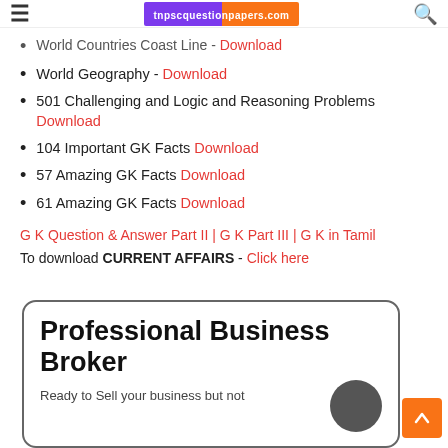tnpscquestionpapers.com
World Countries Coast Line - Download
World Geography - Download
501 Challenging and Logic and Reasoning Problems Download
104 Important GK Facts Download
57 Amazing GK Facts Download
61 Amazing GK Facts Download
G K Question & Answer Part II | G K Part III | G K in Tamil
To download CURRENT AFFAIRS - Click here
[Figure (infographic): Advertisement box for Professional Business Broker with rounded border. Text reads: Professional Business Broker. Ready to Sell your business but not]